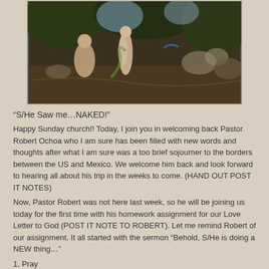[Figure (illustration): Renaissance-style painting depicting figures in the Garden of Eden with animals and lush vegetation]
“S/He Saw me…NAKED!”
Happy Sunday church!! Today, I join you in welcoming back Pastor Robert Ochoa who I am sure has been filled with new words and thoughts after what I am sure was a too brief sojourner to the borders between the US and Mexico. We welcome him back and look forward to hearing all about his trip in the weeks to come. (HAND OUT POST IT NOTES)
Now, Pastor Robert was not here last week, so he will be joining us today for the first time with his homework assignment for our Love Letter to God (POST IT NOTE TO ROBERT). Let me remind Robert of our assignment. It all started with the sermon “Behold, S/He is doing a NEW thing…”
1. Pray